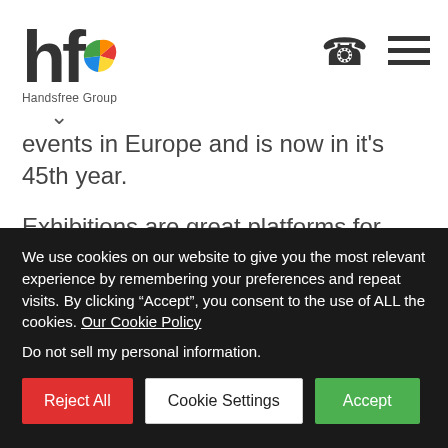[Figure (logo): Handsfree Group logo with stylized 'hf' letters and colorful swirl icon]
events in Europe and is now in it's 45th year.
Exhibitions are great platforms for businesses to showcase new products and reach out to new clientele. They provide an amazing opportunity for businesses within the industry to converse and learn from each other, as well as enabling a place for marketing and promotion.
We use cookies on our website to give you the most relevant experience by remembering your preferences and repeat visits. By clicking “Accept”, you consent to the use of ALL the cookies. Our Cookie Policy
Do not sell my personal information.